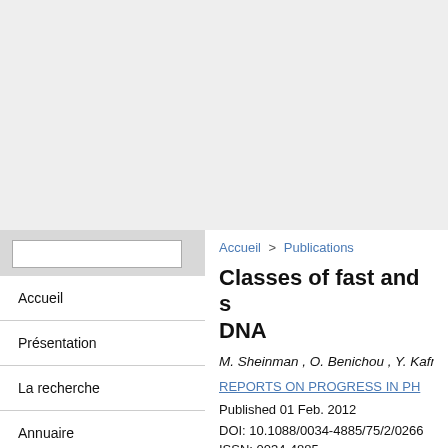Accueil > Publications
Classes of fast and s... DNA
M. Sheinman , O. Benichou , Y. Kafri ,
REPORTS ON PROGRESS IN PH...
Published 01 Feb. 2012
DOI: 10.1088/0034-4885/75/2/0266...
ISSN: 0034-4885...
Accueil
Présentation
La recherche
Annuaire